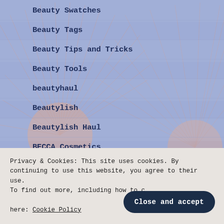Beauty Swatches
Beauty Tags
Beauty Tips and Tricks
Beauty Tools
beautyhaul
Beautylish
Beautylish Haul
BECCA Cosmetics
BECCA Haul
becoming vegan
Privacy & Cookies: This site uses cookies. By continuing to use this website, you agree to their use. To find out more, including how to control cookies, see here: Cookie Policy
Close and accept